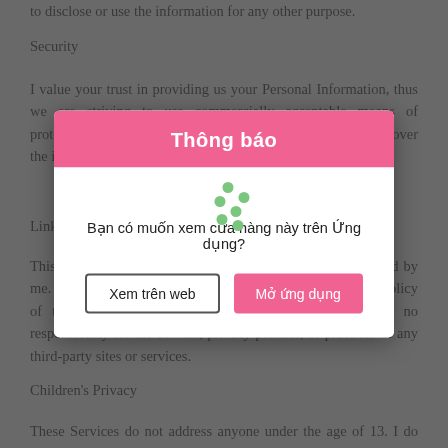to disclose or use the information for any other purpose.
Security
I value your trust in providing us your Personal Information, thus we are striving to use commercially acceptable means of protecting it. But remember that no method of transmission over the internet, or method of... I cannot guarantee...
Links to
This Service... a third-party link... external sites are not operated by me. Therefore, I strongly advise you to review the Privacy Policy of these websites. I have no control over and assume no responsibility for the content, privacy policies, or practices of any third-party sites or services.
Children's Privacy
These Services do not address anyone under the age of 13. I do not
[Figure (screenshot): Modal dialog overlay with pink header reading 'Thông báo', body text 'Bạn có muốn xem cửa hàng này trên Ứng dụng?' with animated dots, and two buttons: 'Xem trên web' and 'Mở ứng dụng']